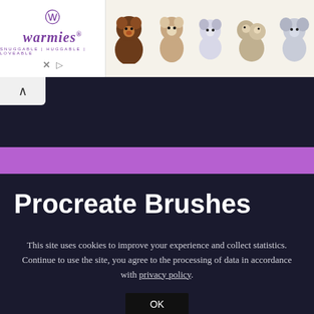[Figure (photo): Warmies brand advertisement banner showing the Warmies logo on the left with 'SNUGGABLE | HUGGABLE | LOVEABLE' tagline, and several stuffed animal toys (red panda, otter, rabbit, sloth pair, elephant) on a beige background on the right. X and play controls visible at bottom left of ad.]
Procreate Brushes
This site uses cookies to improve your experience and collect statistics. Continue to use the site, you agree to the processing of data in accordance with privacy policy.
OK